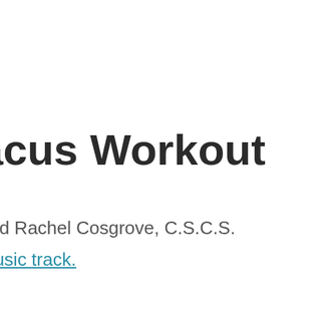acus Workout
and Rachel Cosgrove, C.S.C.S.
music track.